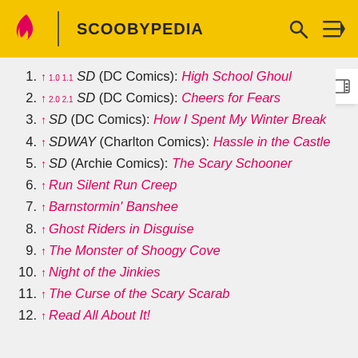SCOOBYPEDIA
1. ↑ 1.0 1.1 SD (DC Comics): High School Ghoul
2. ↑ 2.0 2.1 SD (DC Comics): Cheers for Fears
3. ↑ SD (DC Comics): How I Spent My Winter Break
4. ↑ SDWAY (Charlton Comics): Hassle in the Castle
5. ↑ SD (Archie Comics): The Scary Schooner
6. ↑ Run Silent Run Creep
7. ↑ Barnstormin' Banshee
8. ↑ Ghost Riders in Disguise
9. ↑ The Monster of Shoogy Cove
10. ↑ Night of the Jinkies
11. ↑ The Curse of the Scary Scarab
12. ↑ Read All About It!